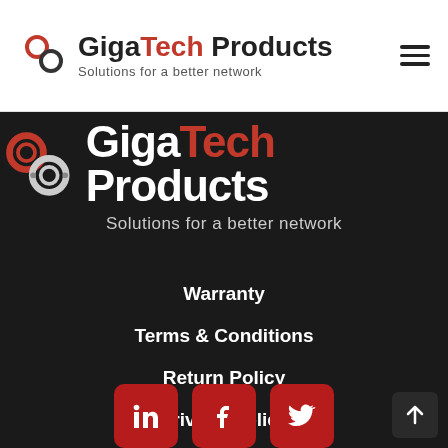GigaTech Products — Solutions for a better network
[Figure (logo): GigaTech Products logo (dark background version) with chain-link icon, brand name GigaTech Products in white and red, tagline: Solutions for a better network]
Warranty
Terms & Conditions
Return Policy
Privacy Policy
[Figure (infographic): Social media buttons: LinkedIn, Facebook, Twitter — red rounded square icons with white icons]